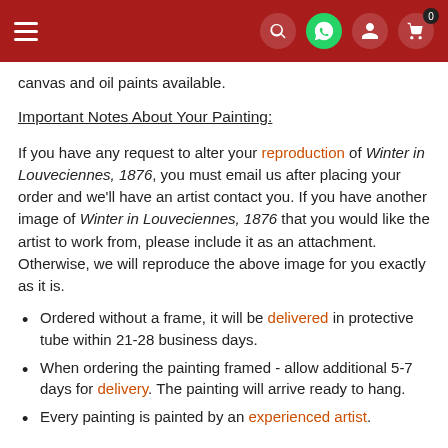Navigation header with hamburger menu, search, WhatsApp, account, and cart (0) icons
canvas and oil paints available.
Important Notes About Your Painting:
If you have any request to alter your reproduction of Winter in Louveciennes, 1876, you must email us after placing your order and we'll have an artist contact you. If you have another image of Winter in Louveciennes, 1876 that you would like the artist to work from, please include it as an attachment. Otherwise, we will reproduce the above image for you exactly as it is.
Ordered without a frame, it will be delivered in protective tube within 21-28 business days.
When ordering the painting framed - allow additional 5-7 days for delivery. The painting will arrive ready to hang.
Every painting is painted by an experienced artist.